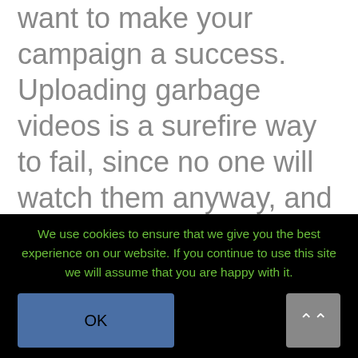want to make your campaign a success. Uploading garbage videos is a surefire way to fail, since no one will watch them anyway, and Google will not give any importance to the links in the video description. Instead, upload quality videos, optimize them for SEO, and include your relevant link in the video's description.
We use cookies to ensure that we give you the best experience on our website. If you continue to use this site we will assume that you are happy with it.